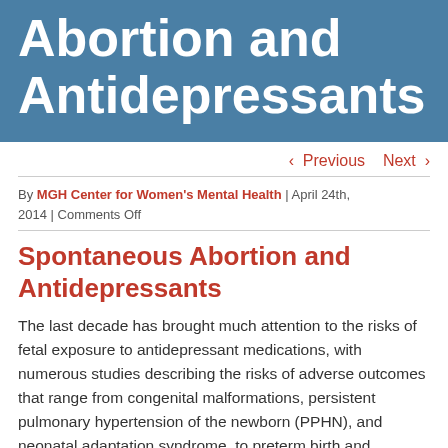Abortion and Antidepressants
< Previous   Next >
By MGH Center for Women's Mental Health | April 24th, 2014 | Comments Off
Spontaneous Abortion and Antidepressants
The last decade has brought much attention to the risks of fetal exposure to antidepressant medications, with numerous studies describing the risks of adverse outcomes that range from congenital malformations, persistent pulmonary hypertension of the newborn (PPHN), and neonatal adaptation syndrome, to preterm birth and